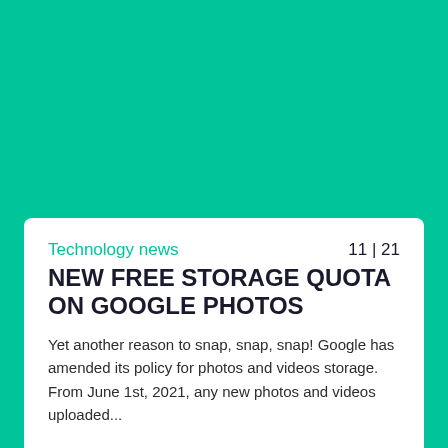Technology news
11 | 21
NEW FREE STORAGE QUOTA ON GOOGLE PHOTOS
Yet another reason to snap, snap, snap! Google has amended its policy for photos and videos storage. From June 1st, 2021, any new photos and videos uploaded...